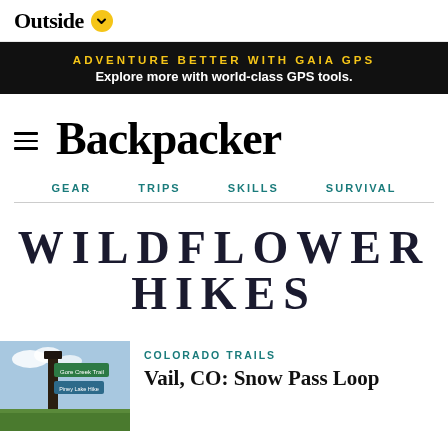Outside
ADVENTURE BETTER WITH GAIA GPS
Explore more with world-class GPS tools.
Backpacker
GEAR   TRIPS   SKILLS   SURVIVAL
WILDFLOWER HIKES
COLORADO TRAILS
Vail, CO: Snow Pass Loop